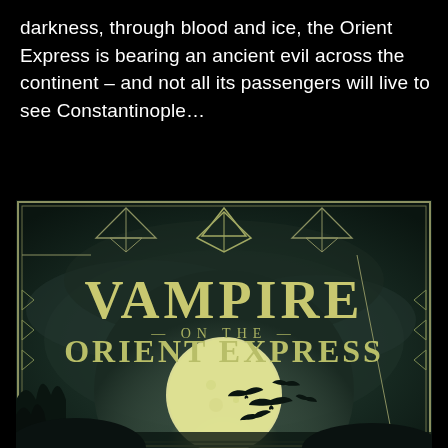darkness, through blood and ice, the Orient Express is bearing an ancient evil across the continent – and not all its passengers will live to see Constantinople…
[Figure (illustration): Book cover of 'Vampire on the Orient Express' showing Art Deco geometric border design in gold on dark teal background, large glowing full moon with silhouettes of flying bats, gothic lettering for the title]